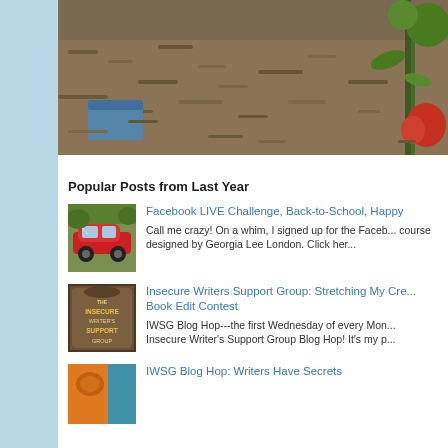[Figure (photo): Close-up photo of tomato plants with red and green tomatoes, surrounded by dried leaves and mulch on the ground, with a blue container partially visible.]
Popular Posts from Last Year
[Figure (photo): Thumbnail of a red car (convertible/sports car) with a person inside.]
Facebook LIVE Challenge, Back-to-School, Happy
Call me crazy! On a whim, I signed up for the Faceb... course designed by Georgia Lee London. Click her...
[Figure (logo): The Insecure Writer's Support Group logo - dark brown/gold square badge with the text THE INSECURE WRITER'S SUPPORT GROUP]
Insecure Writers Support Group: Stretching My Cre... Book Edit Contest
IWSG Blog Hop---the first Wednesday of every Mon... Insecure Writer's Support Group Blog Hop! It's my p...
[Figure (photo): Thumbnail image with orange/teal colors, partially visible at bottom of page.]
IWSG Blog Hop: Writers Have Secrets